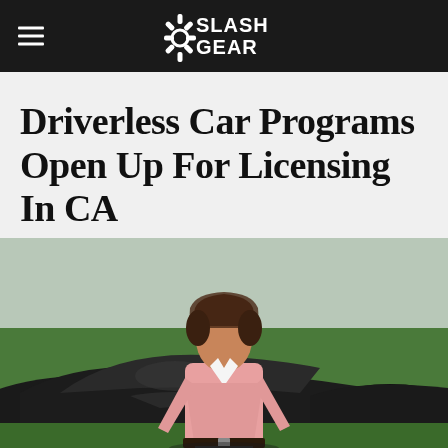SlashGear
Driverless Car Programs Open Up For Licensing In CA
[Figure (photo): Man in pink shirt leaning against a black car with green field in background, reminiscent of Knight Rider TV show]